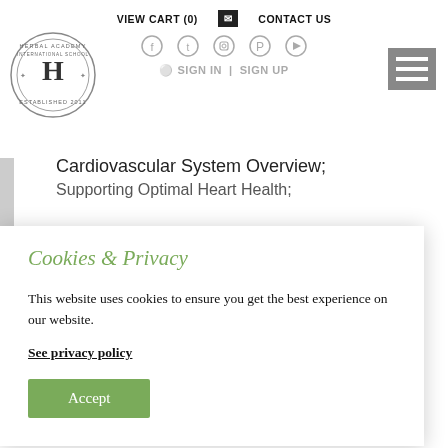VIEW CART (0)   CONTACT US
[Figure (logo): Herbal Academy International School logo, circular stamp with H in center, established 2011]
Cardiovascular System Overview; Supporting Optimal Heart Health;
Cookies & Privacy
This website uses cookies to ensure you get the best experience on our website.
See privacy policy
Accept
Medica